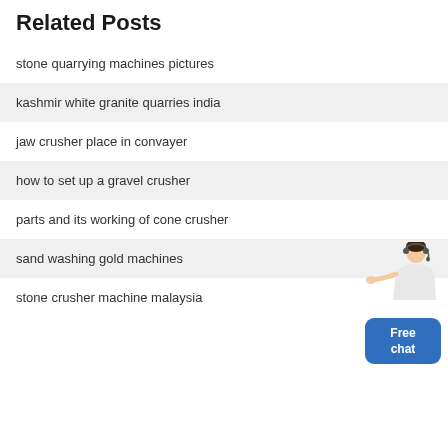Related Posts
stone quarrying machines pictures
kashmir white granite quarries india
jaw crusher place in convayer
how to set up a gravel crusher
parts and its working of cone crusher
sand washing gold machines
stone crusher machine malaysia
[Figure (illustration): Customer service representative figure with Free chat button overlay]